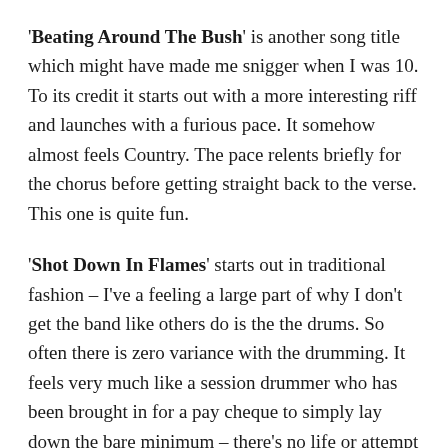'Beating Around The Bush' is another song title which might have made me snigger when I was 10. To its credit it starts out with a more interesting riff and launches with a furious pace. It somehow almost feels Country. The pace relents briefly for the chorus before getting straight back to the verse. This one is quite fun.
'Shot Down In Flames' starts out in traditional fashion – I've a feeling a large part of why I don't get the band like others do is the the drums. So often there is zero variance with the drumming. It feels very much like a session drummer who has been brought in for a pay cheque to simply lay down the bare minimum – there's no life or attempt at style or colour. The song itself is fine – it's not any better or worse than most of the other stuff that I've heard them do.